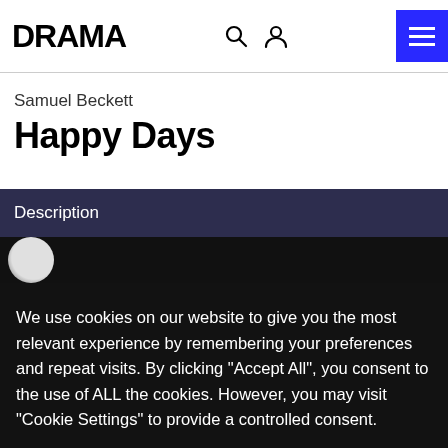DRAMA
Samuel Beckett
Happy Days
Description
[Figure (photo): Dark background image strip with a partial circular shape visible on the left]
We use cookies on our website to give you the most relevant experience by remembering your preferences and repeat visits. By clicking "Accept All", you consent to the use of ALL the cookies. However, you may visit "Cookie Settings" to provide a controlled consent.
Settings | Accept All